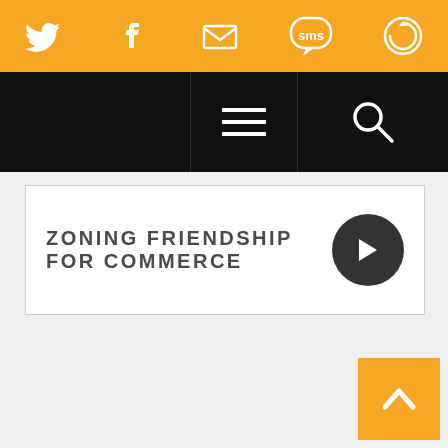[Figure (screenshot): Orange top bar with social media icons: Twitter, Facebook, Email, SMS, and a circular icon]
[Figure (screenshot): Black navigation bar with hamburger menu in center and search icon on the right]
ZONING FRIENDSHIP FOR COMMERCE
[Figure (screenshot): Dark circle arrow button (right-facing arrow)]
[Figure (screenshot): Orange back-to-top button with upward chevron arrow in bottom right corner]